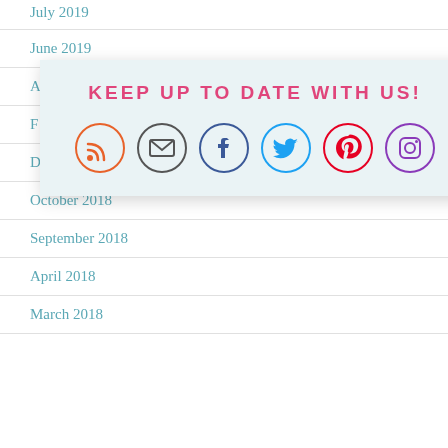July 2019
June 2019
A…
F…
Dece…
October 2018
September 2018
April 2018
March 2018
[Figure (infographic): Social media follow popup with title 'KEEP UP TO DATE WITH US!' and icons for RSS, Email, Facebook, Twitter, Pinterest, Instagram]